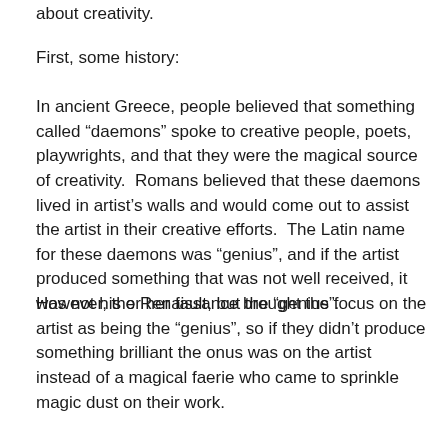about creativity.
First, some history:
In ancient Greece, people believed that something called “daemons” spoke to creative people, poets, playwrights, and that they were the magical source of creativity.  Romans believed that these daemons lived in artist’s walls and would come out to assist the artist in their creative efforts.  The Latin name for these daemons was “genius”, and if the artist produced something that was not well received, it was not his or her fault, but the “genius”.
However, the Renaissance brought the focus on the artist as being the “genius”, so if they didn’t produce something brilliant the onus was on the artist instead of a magical faerie who came to sprinkle magic dust on their work.